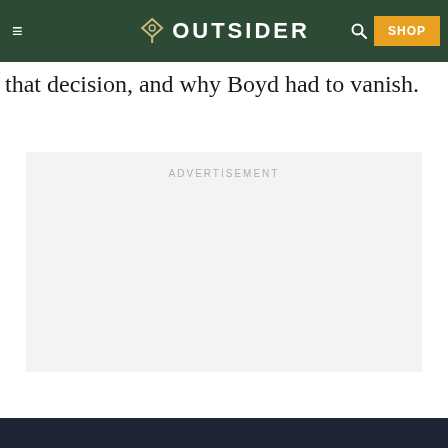OUTSIDER
that decision, and why Boyd had to vanish.
[Figure (other): Advertisement placeholder box with label 'ADVERTISEMENT']